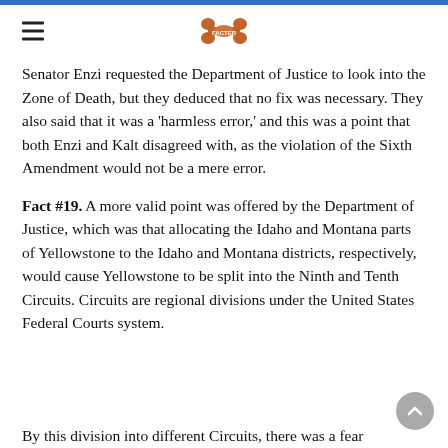[hamburger menu icon] [logo]
Senator Enzi requested the Department of Justice to look into the Zone of Death, but they deduced that no fix was necessary. They also said that it was a 'harmless error,' and this was a point that both Enzi and Kalt disagreed with, as the violation of the Sixth Amendment would not be a mere error.
Fact #19. A more valid point was offered by the Department of Justice, which was that allocating the Idaho and Montana parts of Yellowstone to the Idaho and Montana districts, respectively, would cause Yellowstone to be split into the Ninth and Tenth Circuits. Circuits are regional divisions under the United States Federal Courts system.
By this division into different Circuits, there was a fear